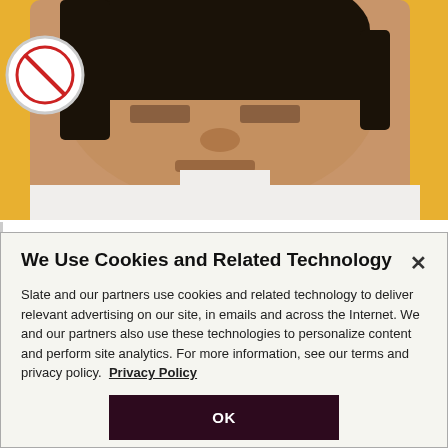[Figure (photo): Photo of Prachatai Web manager Chiranuch Premchaiporn, a woman with dark hair, wearing a white shirt, against a yellow background with a circular sign visible.]
Prachatai Web manager Chiranuch Premchaiporn.

Photo by PORNCHAIKITTIWONGSAKUL/AFP/Getty Images
We Use Cookies and Related Technology
Slate and our partners use cookies and related technology to deliver relevant advertising on our site, in emails and across the Internet. We and our partners also use these technologies to personalize content and perform site analytics. For more information, see our terms and privacy policy. Privacy Policy
OK